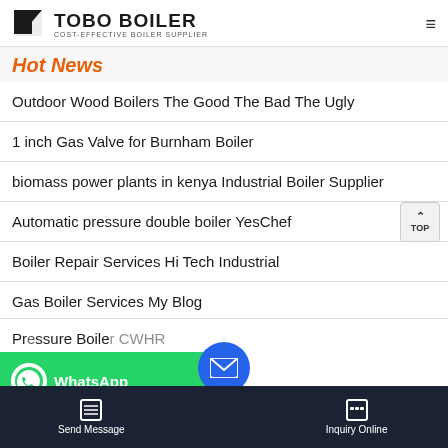TOBO BOILER COST-EFFECTIVE BOILER SUPPLIER
Hot News
Outdoor Wood Boilers The Good The Bad The Ugly
1 inch Gas Valve for Burnham Boiler
biomass power plants in kenya Industrial Boiler Supplier
Automatic pressure double boiler YesChef
Boiler Repair Services Hi Tech Industrial
Gas Boiler Services My Blog
[Figure (screenshot): WhatsApp contact bar (green), email circle button (blue), and bottom navigation bar with Send Message and Inquiry Online options on dark background. Partial text of next list item visible.]